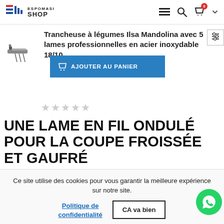ESPOMASI SHOP — navigation header with logo, hamburger menu, search, cart (0)
Trancheuse à légumes Ilsa Mandolina avec 5 lames professionnelles en acier inoxydable 18/10
[Figure (photo): Small product thumbnail image of a vegetable slicer/mandoline]
AJOUTER AU PANIER
★★★★☆ (empty star rating)
UNE LAME EN FIL ONDULÉ POUR LA COUPE FROISSÉE ET GAUFRÉ
Ce site utilise des cookies pour vous garantir la meilleure expérience sur notre site.
Politique de confidentialité
CA va bien